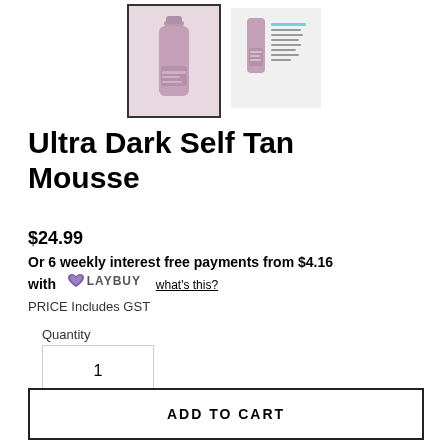[Figure (photo): Two product thumbnail images of Ultra Dark Self Tan Mousse — main selected thumbnail with border on left, secondary thumbnail on right]
Ultra Dark Self Tan Mousse
$24.99
Or 6 weekly interest free payments from $4.16 with LAYBUY what's this?
PRICE Includes GST
Quantity
1
ADD TO CART